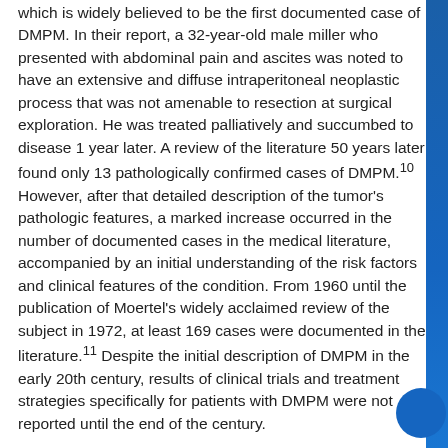which is widely believed to be the first documented case of DMPM. In their report, a 32-year-old male miller who presented with abdominal pain and ascites was noted to have an extensive and diffuse intraperitoneal neoplastic process that was not amenable to resection at surgical exploration. He was treated palliatively and succumbed to disease 1 year later. A review of the literature 50 years later found only 13 pathologically confirmed cases of DMPM.10 However, after that detailed description of the tumor's pathologic features, a marked increase occurred in the number of documented cases in the medical literature, accompanied by an initial understanding of the risk factors and clinical features of the condition. From 1960 until the publication of Moertel's widely acclaimed review of the subject in 1972, at least 169 cases were documented in the literature.11 Despite the initial description of DMPM in the early 20th century, results of clinical trials and treatment strategies specifically for patients with DMPM were not reported until the end of the century.
Diagnosis and Extent of Disease Evaluation